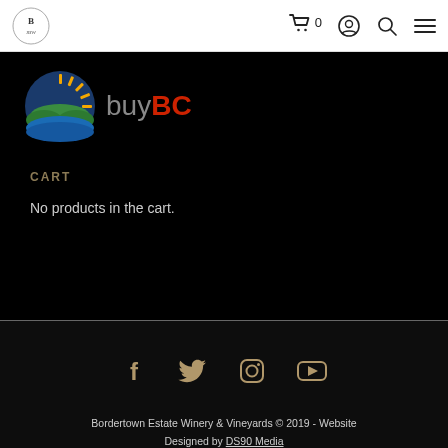Navigation bar with winery logo, cart icon with 0, account icon, search icon, menu icon
[Figure (logo): buyBC logo - circular sunburst design with green hills and blue water, with text 'buyBC' in grey and red]
CART
No products in the cart.
[Figure (other): Social media icons row: Facebook, Twitter, Instagram, YouTube]
Bordertown Estate Winery & Vineyards © 2019 - Website Designed by DS90 Media